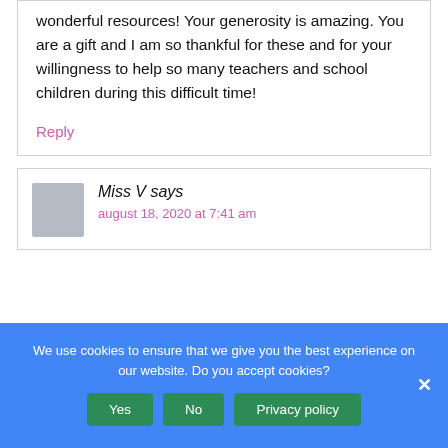wonderful resources! Your generosity is amazing. You are a gift and I am so thankful for these and for your willingness to help so many teachers and school children during this difficult time!
Reply
Miss V says
august 18, 2020 at 7:41 am
We use cookies to ensure that we give you the best experience on our website. Do you accept cookies?
Yes
No
Privacy policy